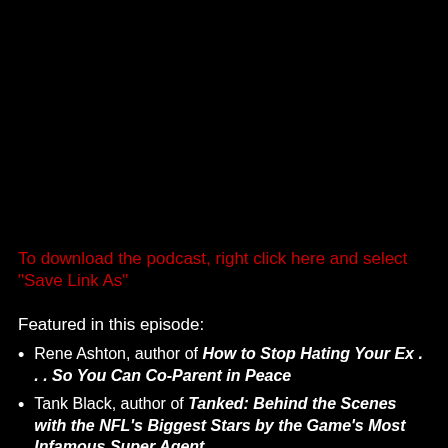To download the podcast, right click here and select "Save Link As"
Featured in this episode:
Rene Ashton, author of How to Stop Hating Your Ex . . . So You Can Co-Parent in Peace
Tank Black, author of Tanked: Behind the Scenes with the NFL's Biggest Stars by the Game's Most Infamous Super Agent